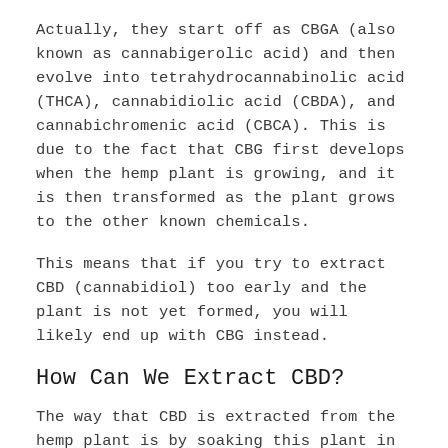Actually, they start off as CBGA (also known as cannabigerolic acid) and then evolve into tetrahydrocannabinolic acid (THCA), cannabidiolic acid (CBDA), and cannabichromenic acid (CBCA). This is due to the fact that CBG first develops when the hemp plant is growing, and it is then transformed as the plant grows to the other known chemicals.
This means that if you try to extract CBD (cannabidiol) too early and the plant is not yet formed, you will likely end up with CBG instead.
How Can We Extract CBD?
The way that CBD is extracted from the hemp plant is by soaking this plant in ethanol or another type of high-profile alcohol. This is a very efficient way of obtaining CBD, and it is also GRAS (meaning Generally Regarded as Safe). This is a classification that is given by the FDA